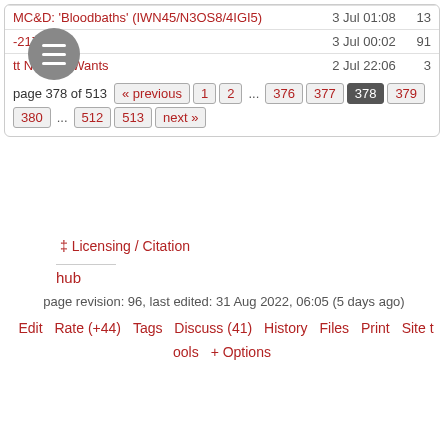| Title | Date | Count |
| --- | --- | --- |
| MC&D: 'Bloodbaths' (IWN45/N3OS8/4IGI5) | 3 Jul 01:08 | 13 |
| -2170 | 3 Jul 00:02 | 91 |
| tt Nobody Wants | 2 Jul 22:06 | 3 |
page 378 of 513  « previous  1  2  ...  376  377  378  379  380  ...  512  513  next »
‡ Licensing / Citation
hub
page revision: 96, last edited: 31 Aug 2022, 06:05 (5 days ago)
Edit  Rate (+44)  Tags  Discuss (41)  History  Files  Print  Site tools  + Options